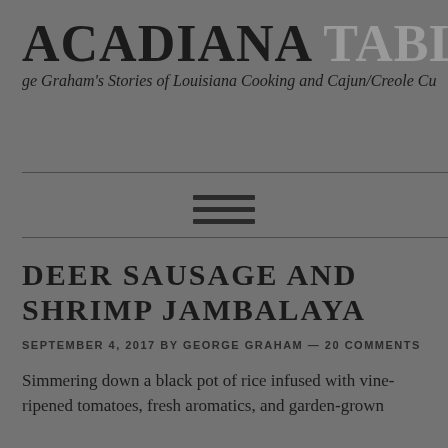ACADIANA TABLE
George Graham's Stories of Louisiana Cooking and Cajun/Creole Cu
DEER SAUSAGE AND SHRIMP JAMBALAYA
SEPTEMBER 4, 2017 BY GEORGE GRAHAM — 20 COMMENTS
Simmering down a black pot of rice infused with vine-ripened tomatoes, fresh aromatics, and garden-grown